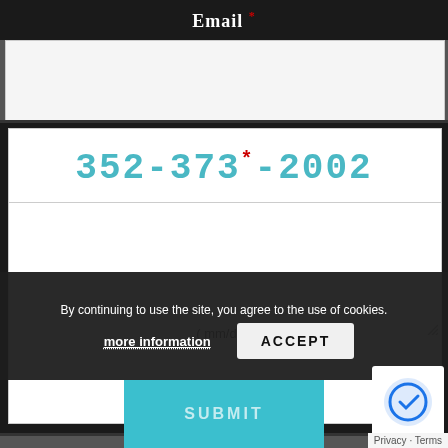Email *
352-373-2002
(mm/dd)
By continuing to use the site, you agree to the use of cookies.
more information
ACCEPT
SUBMIT